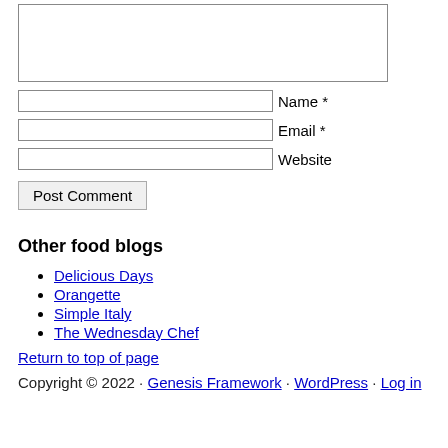[textarea for comment]
Name *
Email *
Website
Post Comment
Other food blogs
Delicious Days
Orangette
Simple Italy
The Wednesday Chef
Return to top of page
Copyright © 2022 · Genesis Framework · WordPress · Log in